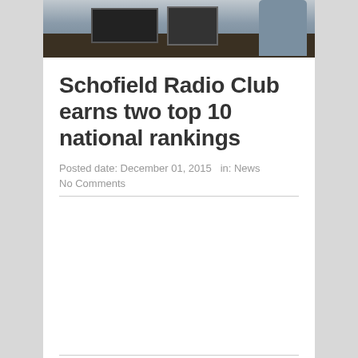[Figure (photo): Photo of radio equipment on a desk with a person in the background]
Schofield Radio Club earns two top 10 national rankings
Posted date: December 01, 2015   in: News
No Comments
BY Larry Wood